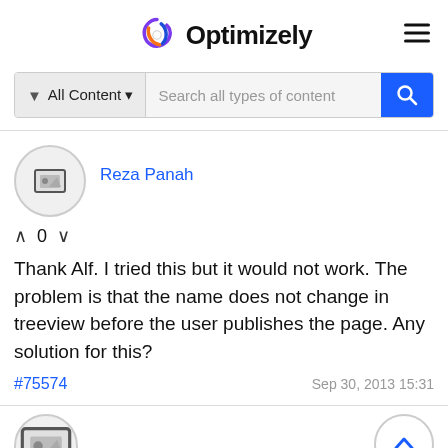[Figure (logo): Optimizely logo with colorful spiral icon and bold text]
[Figure (screenshot): Search bar with All Content filter dropdown and search field]
Reza Panah
^ 0 v
Thank Alf. I tried this but it would not work. The problem is that the name does not change in treeview before the user publishes the page. Any solution for this?
#75574
Sep 30, 2013 15:31